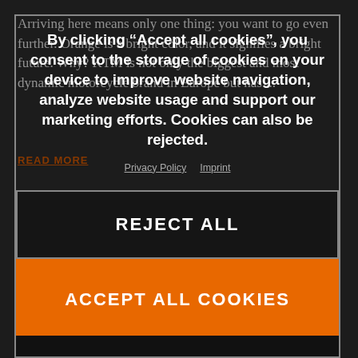Arriving here means only one thing: you want to go even further. Orange is a bright color, and it signifies a bright future. Why? KTM is not only the biggest and most dynamic motorcycle brand in Europe but has ...
READ MORE
By clicking “Accept all cookies”, you consent to the storage of cookies on your device to improve website navigation, analyze website usage and support our marketing efforts. Cookies can also be rejected.
Privacy Policy  Imprint
REJECT ALL
ACCEPT ALL COOKIES